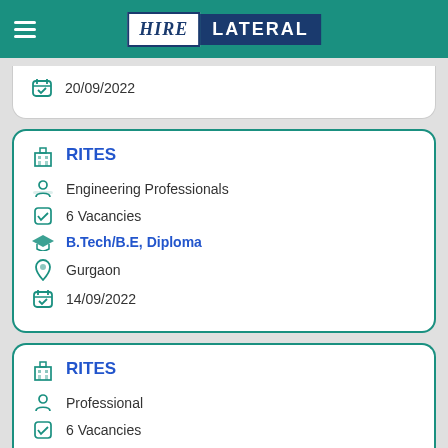HIRE LATERAL
20/09/2022
RITES | Engineering Professionals | 6 Vacancies | B.Tech/B.E, Diploma | Gurgaon | 14/09/2022
RITES | Professional | 6 Vacancies | B.Sc, B.Tech/B.E, M.Sc, M.E/M.Tech